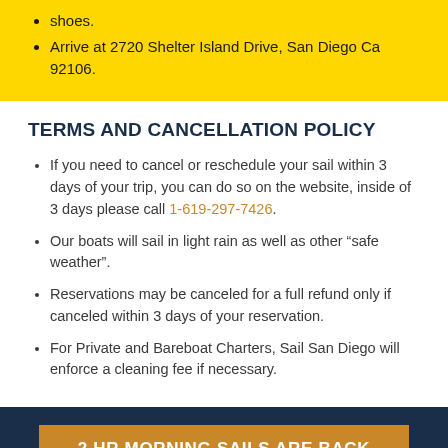shoes.
Arrive at 2720 Shelter Island Drive, San Diego Ca 92106.
TERMS AND CANCELLATION POLICY
If you need to cancel or reschedule your sail within 3 days of your trip, you can do so on the website, inside of 3 days please call 1-619-297-7426.
Our boats will sail in light rain as well as other “safe weather”.
Reservations may be canceled for a full refund only if canceled within 3 days of your reservation.
For Private and Bareboat Charters, Sail San Diego will enforce a cleaning fee if necessary.
2 HR MORNING SAILS ARE BACK